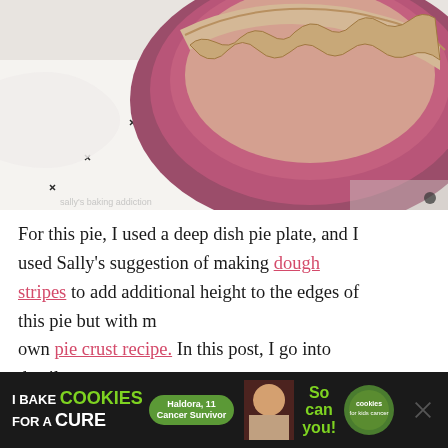[Figure (photo): Close-up photo of pie dough strips on a deep dish pie plate with a dark maroon/purple rim, on a white cloth with small cross/plus patterns]
For this pie, I used a deep dish pie plate, and I used Sally's suggestion of making dough stripes to add additional height to the edges of this pie but with my own pie crust recipe. In this post, I go into detail about the proper way to blind-bake the crust using pie weights. If you don't have pie weights, I suggest using dry beans.
Be sure to line your pie crust with parchment...